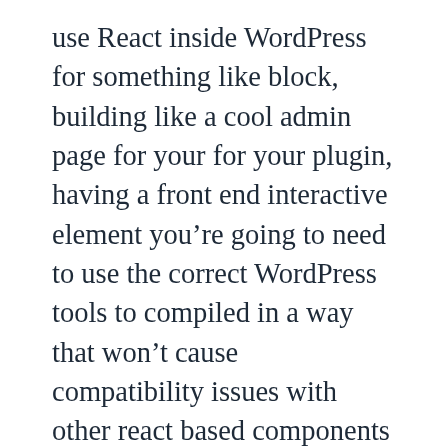use React inside WordPress for something like block, building like a cool admin page for your for your plugin, having a front end interactive element you're going to need to use the correct WordPress tools to compiled in a way that won't cause compatibility issues with other react based components in the WordPress site. So you're, the more and more It's becoming like effectively a requirement right like you might want to, you might have a plugin